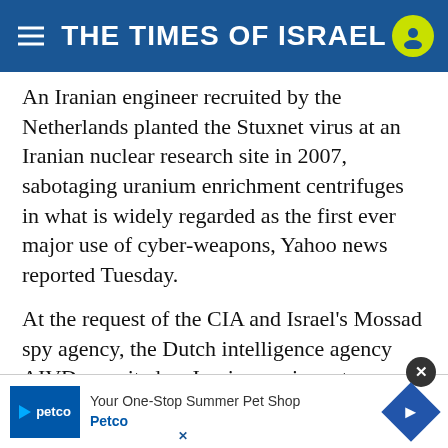THE TIMES OF ISRAEL
An Iranian engineer recruited by the Netherlands planted the Stuxnet virus at an Iranian nuclear research site in 2007, sabotaging uranium enrichment centrifuges in what is widely regarded as the first ever major use of cyber-weapons, Yahoo news reported Tuesday.
At the request of the CIA and Israel’s Mossad spy agency, the Dutch intelligence agency AIVD recruited an Iranian engineer to implant the virus program into Iran’s Natanz enrichment facility, four intelligence sources familiar with the details told the news site.
The re[...] one of the m[...] how
[Figure (other): Advertisement banner for Petco: 'Your One-Stop Summer Pet Shop' with Petco logo and navigation icon. Close button (X) in top right.]